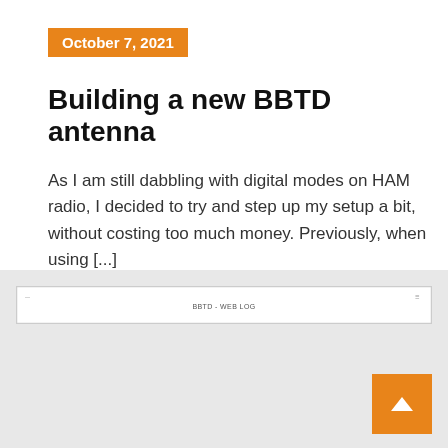October 7, 2021
Building a new BBTD antenna
As I am still dabbling with digital modes on HAM radio, I decided to try and step up my setup a bit, without costing too much money. Previously, when using [...]
[Figure (screenshot): A screenshot strip showing a webpage header with small text and navigation elements]